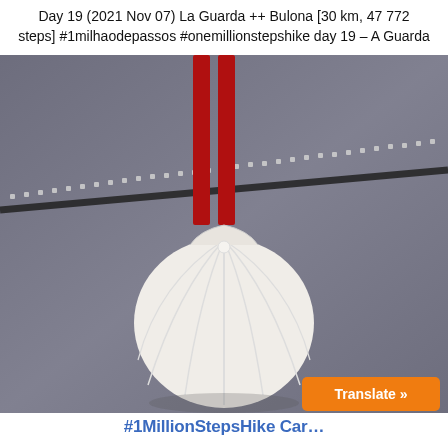Day 19 (2021 Nov 07) La Guarda ++ Bulona [30 km, 47 772 steps] #1milhaodepassos #onemillionstepshike day 19 – A Guarda
[Figure (photo): Close-up photo of a white scallop shell pendant hanging by a red ribbon on a gray jacket with a zipper. A 'Translate »' button overlay appears in the bottom-right corner of the image.]
#1MillionStepsHike Car…